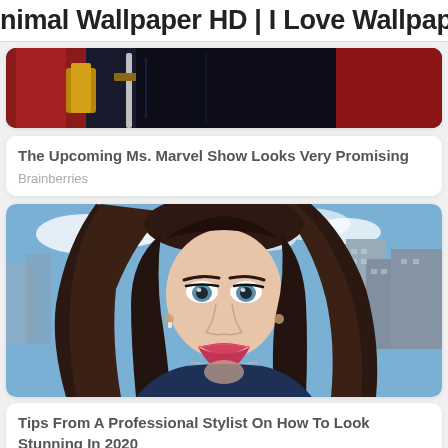nimal Wallpaper HD | I Love Wallpap
[Figure (photo): Partial image showing a person in colorful costume holding a sword or weapon, with red and gold costume elements visible — appears to be Ms. Marvel themed artwork]
The Upcoming Ms. Marvel Show Looks Very Promising
Brainberries
[Figure (photo): A young woman with long brunette hair and striking blue eyes poses outdoors on a rooftop with city buildings in the background. She wears a dark blue outfit and has a glamorous look.]
Tips From A Professional Stylist On How To Look Stunning In 2020
Herbeauty